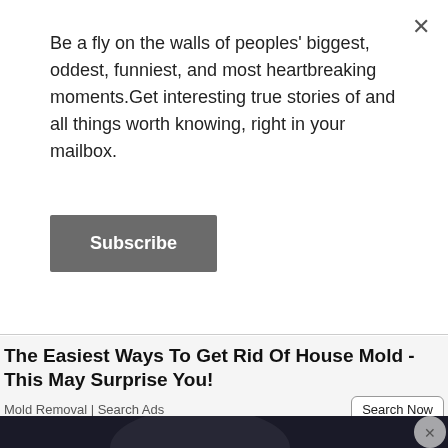Be a fly on the walls of peoples' biggest, oddest, funniest, and most heartbreaking moments.Get interesting true stories of and all things worth knowing, right in your mailbox.
Subscribe
The Easiest Ways To Get Rid Of House Mold - This May Surprise You!
Mold Removal | Search Ads
Search Now
[Figure (photo): A man and woman couple photographed against a dark background; the man has dark hair and a beard, wearing a suit; the woman is blonde.]